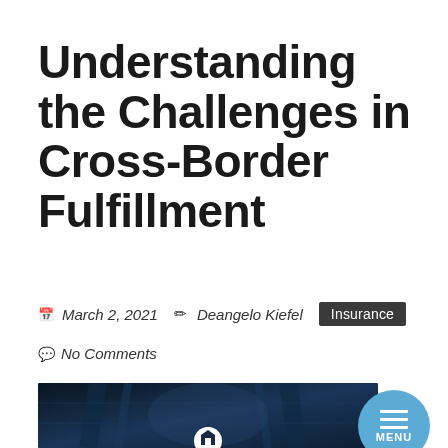Understanding the Challenges in Cross-Border Fulfillment
March 2, 2021  Deangelo Kiefel  Insurance  No Comments
[Figure (photo): Dark blue warehouse/fulfillment center aisle with shelving racks, a small circular logo/icon at the bottom center]